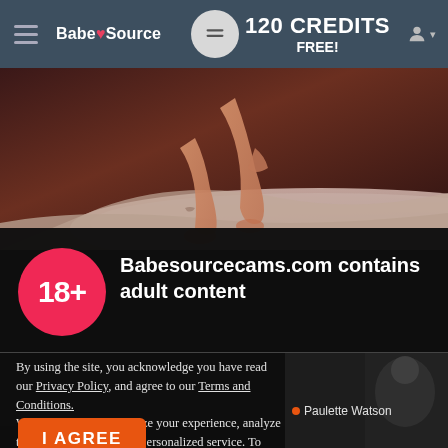120 CREDITS FREE! — BabeSource navigation header
[Figure (photo): Background photo of a woman sitting on a bed with light pink bedding, dark reddish-brown background]
18+
Babesourcecams.com contains adult content
By using the site, you acknowledge you have read our Privacy Policy, and agree to our Terms and Conditions.
We use cookies to optimize your experience, analyze traffic, and deliver more personalized service. To learn more, please see our Privacy Policy.
I AGREE
Paulette Watson